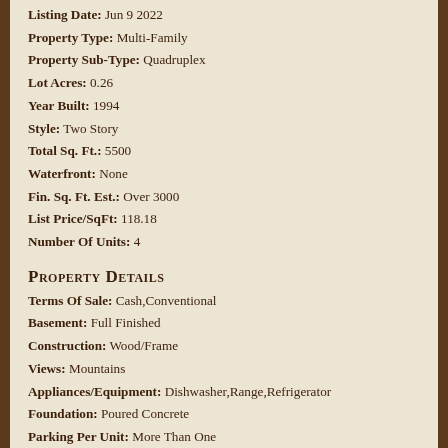Listing Date: Jun 9 2022
Property Type: Multi-Family
Property Sub-Type: Quadruplex
Lot Acres: 0.26
Year Built: 1994
Style: Two Story
Total Sq. Ft.: 5500
Waterfront: None
Fin. Sq. Ft. Est.: Over 3000
List Price/SqFt: 118.18
Number Of Units: 4
Property Details
Terms Of Sale: Cash,Conventional
Basement: Full Finished
Construction: Wood/Frame
Views: Mountains
Appliances/Equipment: Dishwasher,Range,Refrigerator
Foundation: Poured Concrete
Parking Per Unit: More Than One
Parking Type: Paved Area
Remarks: Showing